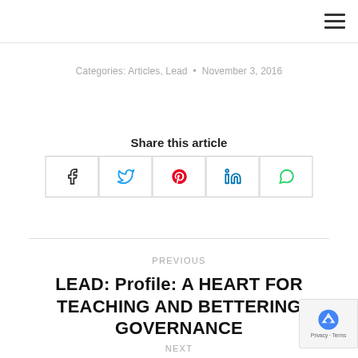≡
Categories: Articles, Lead • November 3, 2016
Share this article
[Figure (other): Social share buttons: Facebook, Twitter, Pinterest, LinkedIn, WhatsApp]
PREVIOUS
LEAD: Profile: A HEART FOR TEACHING AND BETTERING GOVERNANCE
NEXT